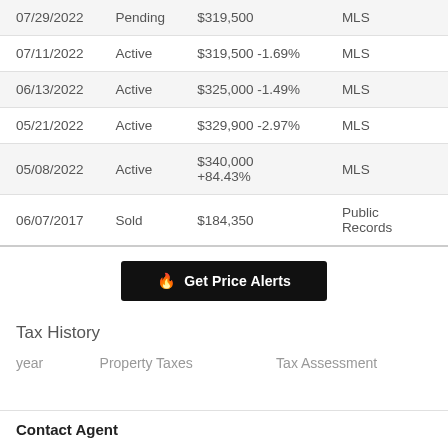| Date | Status | Price | Source |
| --- | --- | --- | --- |
| 07/29/2022 | Pending | $319,500 | MLS |
| 07/11/2022 | Active | $319,500 -1.69% | MLS |
| 06/13/2022 | Active | $325,000 -1.49% | MLS |
| 05/21/2022 | Active | $329,900 -2.97% | MLS |
| 05/08/2022 | Active | $340,000 +84.43% | MLS |
| 06/07/2017 | Sold | $184,350 | Public Records |
Get Price Alerts
Tax History
| year | Property Taxes | Tax Assessment |
| --- | --- | --- |
Contact Agent